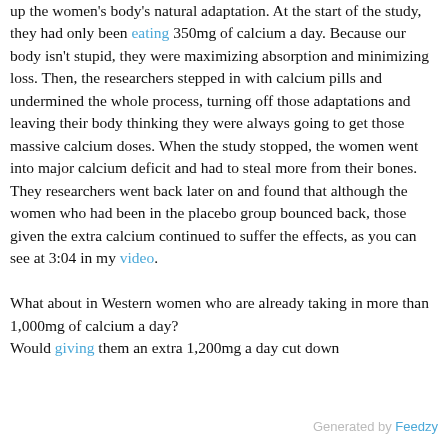up the women's body's natural adaptation. At the start of the study, they had only been eating 350mg of calcium a day. Because our body isn't stupid, they were maximizing absorption and minimizing loss. Then, the researchers stepped in with calcium pills and undermined the whole process, turning off those adaptations and leaving their body thinking they were always going to get those massive calcium doses. When the study stopped, the women went into major calcium deficit and had to steal more from their bones. They researchers went back later on and found that although the women who had been in the placebo group bounced back, those given the extra calcium continued to suffer the effects, as you can see at 3:04 in my video.

What about in Western women who are already taking in more than 1,000mg of calcium a day?
Would giving them an extra 1,200mg a day cut down
Generated by Feedzy